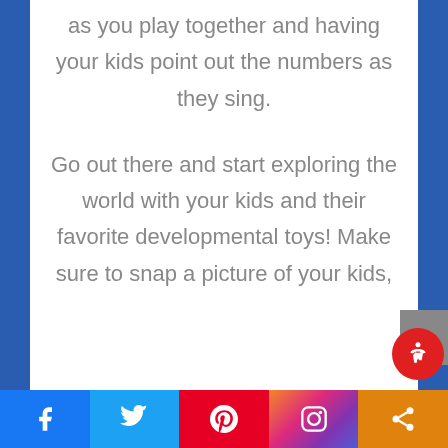as you play together and having your kids point out the numbers as they sing.
Go out there and start exploring the world with your kids and their favorite developmental toys! Make sure to snap a picture of your kids,
Social share bar: Facebook, Twitter, Pinterest, Instagram, Share